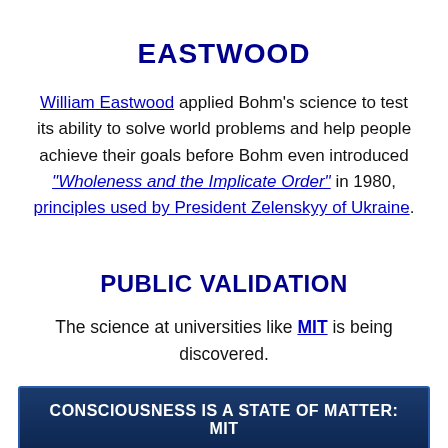EASTWOOD
William Eastwood applied Bohm's science to test its ability to solve world problems and help people achieve their goals before Bohm even introduced “Wholeness and the Implicate Order” in 1980, principles used by President Zelenskyy of Ukraine.
PUBLIC VALIDATION
The science at universities like MIT is being discovered.
CONSCIOUSNESS IS A STATE OF MATTER: MIT